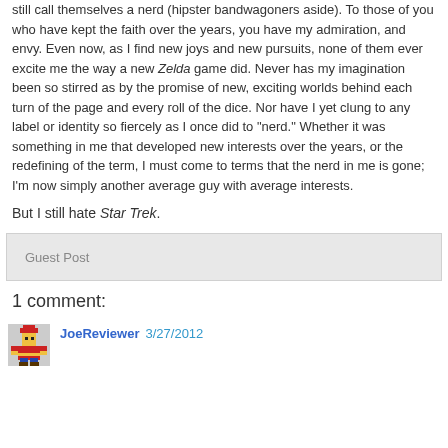still call themselves a nerd (hipster bandwagoners aside). To those of you who have kept the faith over the years, you have my admiration, and envy. Even now, as I find new joys and new pursuits, none of them ever excite me the way a new Zelda game did. Never has my imagination been so stirred as by the promise of new, exciting worlds behind each turn of the page and every roll of the dice. Nor have I yet clung to any label or identity so fiercely as I once did to "nerd." Whether it was something in me that developed new interests over the years, or the redefining of the term, I must come to terms that the nerd in me is gone; I'm now simply another average guy with average interests.
But I still hate Star Trek.
Guest Post
1 comment:
JoeReviewer 3/27/2012